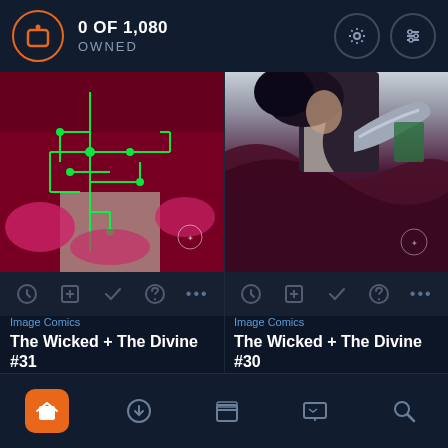0 OF 1,080 OWNED
[Figure (screenshot): Comic book cover for The Wicked + The Divine #31 showing neon green circuit board design on dark red/maroon background with Image Comics logo]
Image Comics
The Wicked + The Divine #31
SEP 6TH, 2017 · $3.99
[Figure (screenshot): Comic book cover for The Wicked + The Divine #30 showing a dark figure in maroon cape with robotic hand on purple/dark background with Image Comics logo]
Image Comics
The Wicked + The Divine #30
AUG 9TH, 2017 · $3.99
Navigation bar with home, download, library, reading, and search icons